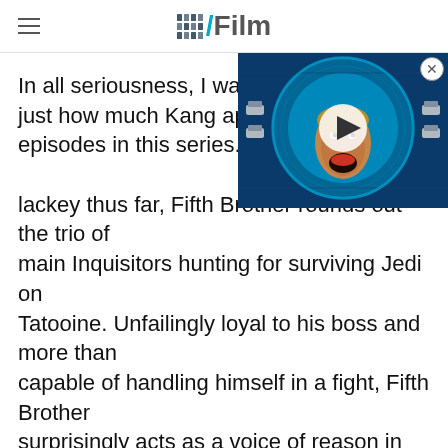/Film
[Figure (screenshot): Video thumbnail showing a man with open mouth in a sci-fi setting with circular blue lighting, overlaid with a white play button circle.]
In all seriousness, I was pleased to see just how much Kang appears in the episodes in this series. Although acting as a lackey thus far, Fifth Brother rounds out the trio of main Inquisitors hunting for surviving Jedi on Tatooine. Unfailingly loyal to his boss and more than capable of handling himself in a fight, Fifth Brother surprisingly acts as a voice of reason in pulling back the unhinged Reva from some of her more ... extreme ... methods. Similarly to the Grand Inquisitor, this character traces his roots back to the animated series, "Star Wars Rebels." Although fans of that show know exactly what end that fate has in